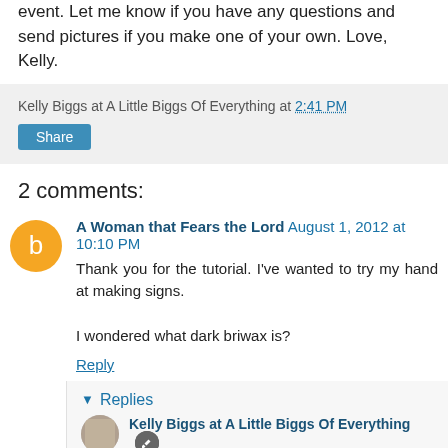event. Let me know if you have any questions and send pictures if you make one of your own. Love, Kelly.
Kelly Biggs at A Little Biggs Of Everything at 2:41 PM
Share
2 comments:
A Woman that Fears the Lord August 1, 2012 at 10:10 PM
Thank you for the tutorial. I've wanted to try my hand at making signs.

I wondered what dark briwax is?
Reply
Replies
Kelly Biggs at A Little Biggs Of Everything
August 2, 2012 at 8:09 AM